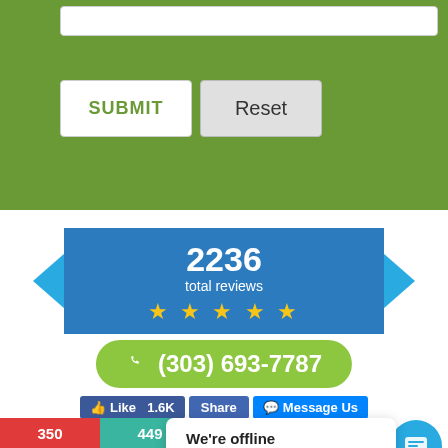[Figure (screenshot): Green form section with input bar, SUBMIT and Reset buttons]
[Figure (infographic): Blue ribbon banner showing 2236 total reviews with 5 yellow stars]
(303) 693-7787
Like 1.6K  Share  Message Us
We're offline
Leave a message
350  449  100